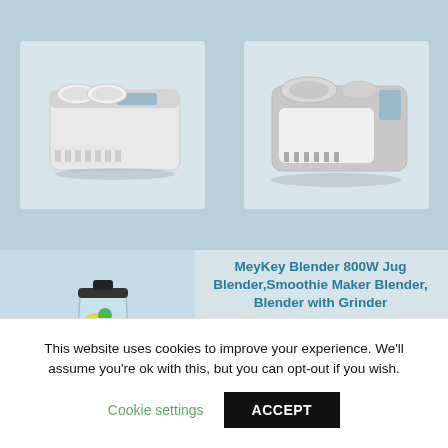[Figure (photo): Two ice cream maker appliances shown side by side on a blue-gray background]
[Figure (photo): MeyKey blender with fruits and red smoothie drinks around it]
MeyKey Blender 800W Jug Blender,Smoothie Maker Blender, Blender with Grinder
April 7, 2018 - Comment
br>For a tasteful and healthy life ✓ The countertop blender is a healthy personal assistance, pulverize food in seconds, crush ice without effort and release more nutrition, providing an easy way to get the nutrients and vitamins without the harmful additives,
This website uses cookies to improve your experience. We'll assume you're ok with this, but you can opt-out if you wish.
Cookie settings   ACCEPT